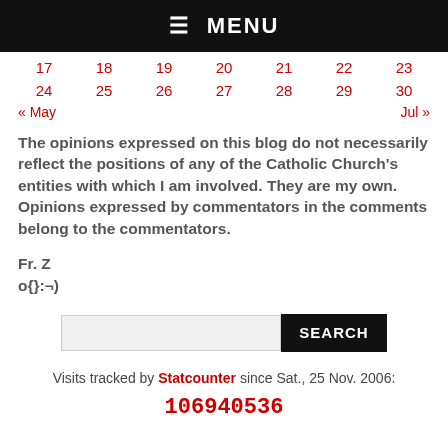☰ MENU
| 17 | 18 | 19 | 20 | 21 | 22 | 23 |
| 24 | 25 | 26 | 27 | 28 | 29 | 30 |
« May    Jul »
The opinions expressed on this blog do not necessarily reflect the positions of any of the Catholic Church's entities with which I am involved. They are my own. Opinions expressed by commentators in the comments belong to the commentators.
Fr. Z
o{}:¬)
SEARCH
Visits tracked by Statcounter since Sat., 25 Nov. 2006:
106940536